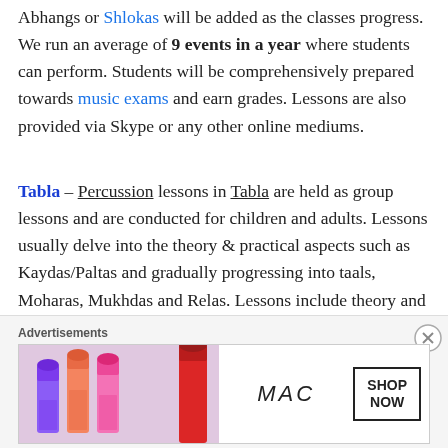Abhangs or Shlokas will be added as the classes progress. We run an average of 9 events in a year where students can perform. Students will be comprehensively prepared towards music exams and earn grades. Lessons are also provided via Skype or any other online mediums.
Tabla – Percussion lessons in Tabla are held as group lessons and are conducted for children and adults. Lessons usually delve into the theory & practical aspects such as Kaydas/Paltas and gradually progressing into taals, Moharas, Mukhdas and Relas. Lessons include theory and the necessary preparation for Grade exams.
Advertisements
[Figure (photo): MAC cosmetics advertisement banner showing lipsticks, MAC logo, and a SHOP NOW button]